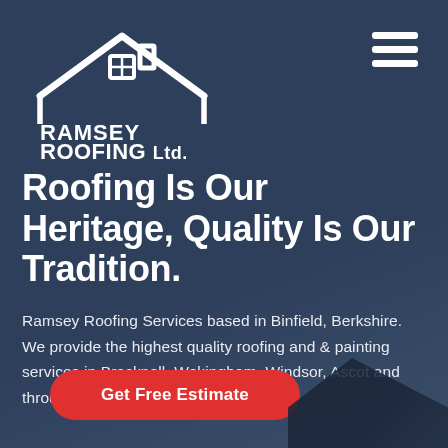[Figure (logo): Ramsey Roofing Ltd. & Painting Services logo — white house outline with chimney and window, company name in white bold text, cursive tagline, decorative swoosh]
[Figure (other): Hamburger menu icon — three white horizontal bars]
Roofing Is Our Heritage, Quality Is Our Tradition.
Ramsey Roofing Services based in Binfield, Berkshire. We provide the highest quality roofing and & painting services in Bracknell, Wokingham, Windsor, Ascot and throughout Berkshire.
Get Free Estimate